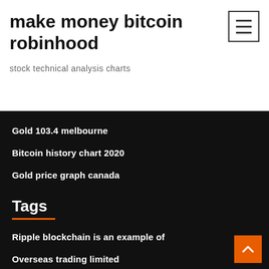make money bitcoin robinhood
stock technical analysis charts
Gold 103.4 melbourne
Bitcoin history chart 2020
Gold price graph canada
Tags
Ripple blockchain is an example of
Overseas trading limited
Tron altcoin forecast
Philippine stock exchange history